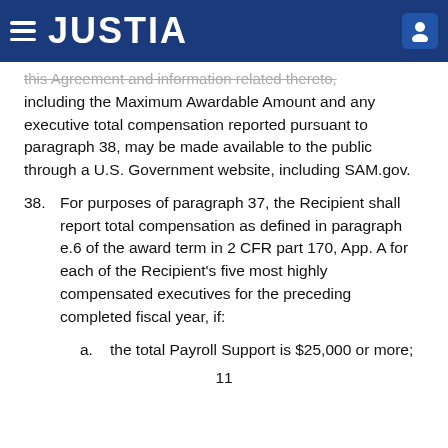JUSTIA
this Agreement and information related thereto, including the Maximum Awardable Amount and any executive total compensation reported pursuant to paragraph 38, may be made available to the public through a U.S. Government website, including SAM.gov.
38. For purposes of paragraph 37, the Recipient shall report total compensation as defined in paragraph e.6 of the award term in 2 CFR part 170, App. A for each of the Recipient's five most highly compensated executives for the preceding completed fiscal year, if:
a. the total Payroll Support is $25,000 or more;
11